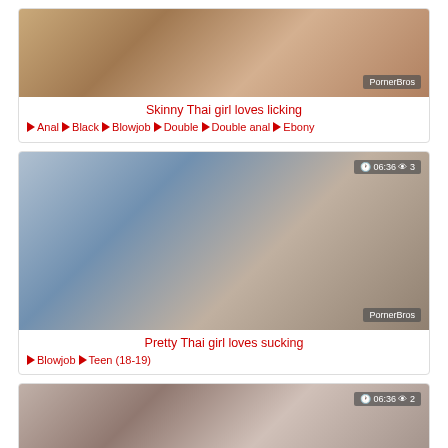[Figure (photo): Thumbnail image for video: Skinny Thai girl loves licking, with PornerBros watermark]
Skinny Thai girl loves licking
Anal  Black  Blowjob  Double  Double anal  Ebony
[Figure (photo): Thumbnail image for video: Pretty Thai girl loves sucking, duration 06:36, 3 views, with PornerBros watermark]
Pretty Thai girl loves sucking
Blowjob  Teen (18-19)
[Figure (photo): Thumbnail image for a third video, duration 06:36, 2 views]